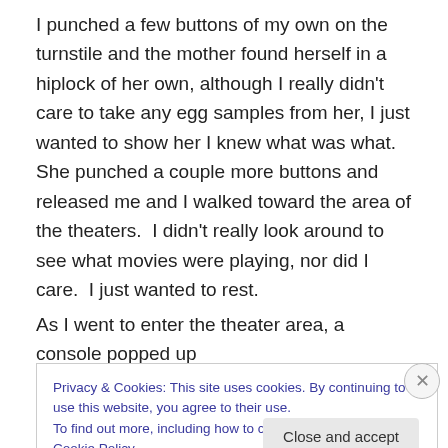I punched a few buttons of my own on the turnstile and the mother found herself in a hiplock of her own, although I really didn't care to take any egg samples from her, I just wanted to show her I knew what was what.  She punched a couple more buttons and released me and I walked toward the area of the theaters.  I didn't really look around to see what movies were playing, nor did I care.  I just wanted to rest.
As I went to enter the theater area, a console popped up
Privacy & Cookies: This site uses cookies. By continuing to use this website, you agree to their use.
To find out more, including how to control cookies, see here: Cookie Policy